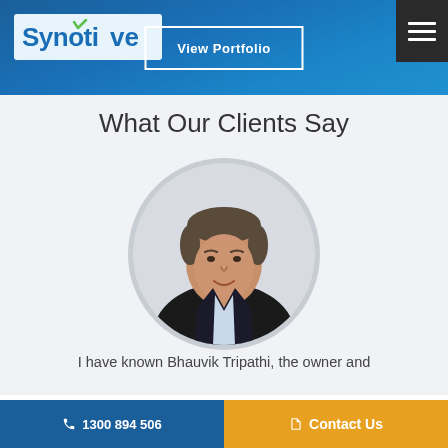Synotive — View Portfolio
What Our Clients Say
[Figure (photo): Circular cropped headshot photo of a middle-aged man with grey/brown hair, wearing a dark blazer and light blue shirt, against a light background]
I have known Bhauvik Tripathi, the owner and
1300 894 506   Contact Us